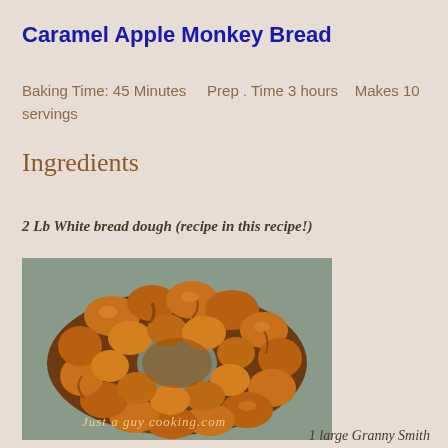Caramel Apple Monkey Bread
Baking Time: 45 Minutes    Prep . Time 3 hours   Makes 10 servings
Ingredients
2 Lb White bread dough (recipe in this recipe!)
[Figure (photo): A caramel apple monkey bread in a ring shape, golden brown with caramel glaze, on a baking tray. Watermark reads: Just a guy cooking.com]
1 large Granny Smith